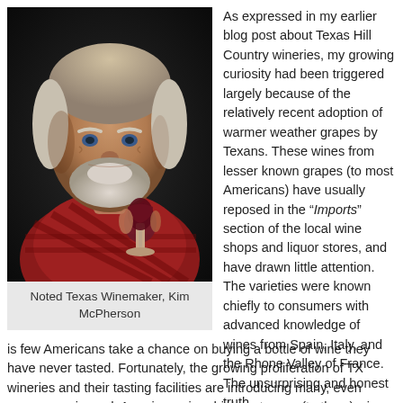[Figure (photo): Portrait photo of Kim McPherson, a noted Texas Winemaker, an older man with white/gray hair and beard wearing a red plaid shirt, holding a glass of red wine against a dark background.]
Noted Texas Winemaker, Kim McPherson
As expressed in my earlier blog post about Texas Hill Country wineries, my growing curiosity had been triggered largely because of the relatively recent adoption of warmer weather grapes by Texans. These wines from lesser known grapes (to most Americans) have usually reposed in the “Imports” section of the local wine shops and liquor stores, and have drawn little attention. The varieties were known chiefly to consumers with advanced knowledge of wines from Spain, Italy, and the Rhone Valley of France. The unsurprising and honest truth is few Americans take a chance on buying a bottle of wine they have never tasted. Fortunately, the growing proliferation of TX wineries and their tasting facilities are introducing many, even many experienced, American wine drinkers to new (to them) wines. This enables Texan
is few Americans take a chance on buying a bottle of wine they have never tasted. Fortunately, the growing proliferation of TX wineries and their tasting facilities are introducing many, even many experienced, American wine drinkers to new (to them) wines. This enables Texan